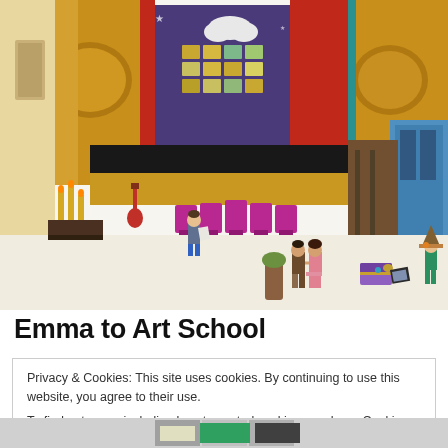[Figure (photo): LEGO Friends Emma to Art School set displayed with theater stage, minifigures including characters holding hands, costume trunk, and display stands with accessories]
Emma to Art School
Privacy & Cookies: This site uses cookies. By continuing to use this website, you agree to their use.
To find out more, including how to control cookies, see here: Cookie Policy
Close and accept
[Figure (photo): Partial view of another LEGO set at the bottom of the page]